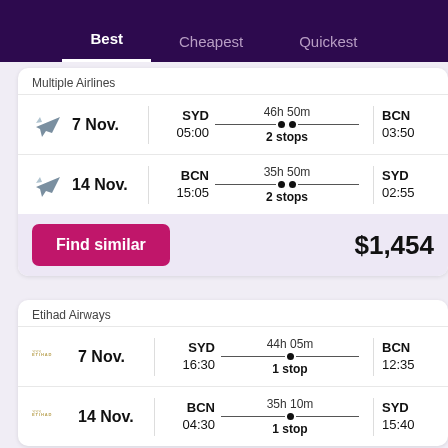Best  Cheapest  Quickest
Multiple Airlines
7 Nov.  SYD 05:00  46h 50m  2 stops  BCN 03:50
14 Nov.  BCN 15:05  35h 50m  2 stops  SYD 02:55
Find similar  $1,454
Etihad Airways
7 Nov.  SYD 16:30  44h 05m  1 stop  BCN 12:35
14 Nov.  BCN 04:30  35h 10m  1 stop  SYD 15:40